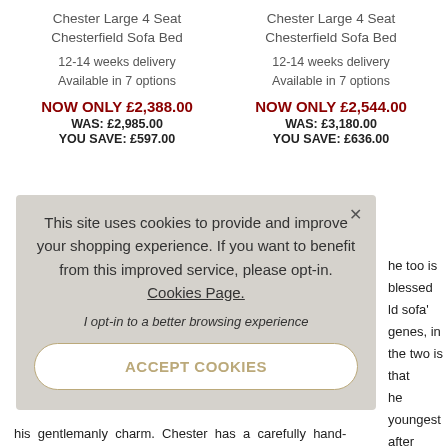Chester Large 4 Seat Chesterfield Sofa Bed
12-14 weeks delivery
Available in 7 options
NOW ONLY £2,388.00
WAS: £2,985.00
YOU SAVE: £597.00
Chester Large 4 Seat Chesterfield Sofa Bed
12-14 weeks delivery
Available in 7 options
NOW ONLY £2,544.00
WAS: £3,180.00
YOU SAVE: £636.00
This site uses cookies to provide and improve your shopping experience. If you want to benefit from this improved service, please opt-in. Cookies Page.
I opt-in to a better browsing experience
ACCEPT COOKIES
he too is blessed
ld sofa' genes, in
the two is that
he youngest after
nto his traditional
o frills Chester's a
, perfect for a
. In fact, we think
led it can handle
his gentlemanly charm. Chester has a carefully hand-